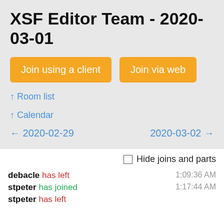XSF Editor Team - 2020-03-01
Join using a client
Join via web
↑ Room list
↑ Calendar
← 2020-02-29
2020-03-02 →
Hide joins and parts
debacle has left   1:09:36 AM
stpeter has joined   1:17:44 AM
stpeter has left